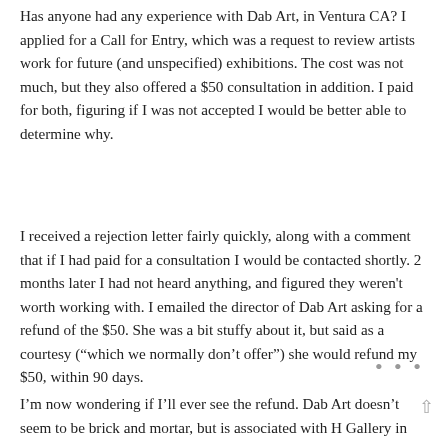Has anyone had any experience with Dab Art, in Ventura CA? I applied for a Call for Entry, which was a request to review artists work for future (and unspecified) exhibitions. The cost was not much, but they also offered a $50 consultation in addition. I paid for both, figuring if I was not accepted I would be better able to determine why.
I received a rejection letter fairly quickly, along with a comment that if I had paid for a consultation I would be contacted shortly. 2 months later I had not heard anything, and figured they weren't worth working with. I emailed the director of Dab Art asking for a refund of the $50. She was a bit stuffy about it, but said as a courtesy ("which we normally don't offer") she would refund my $50, within 90 days.
I'm now wondering if I'll ever see the refund. Dab Art doesn't seem to be brick and mortar, but is associated with H Gallery in